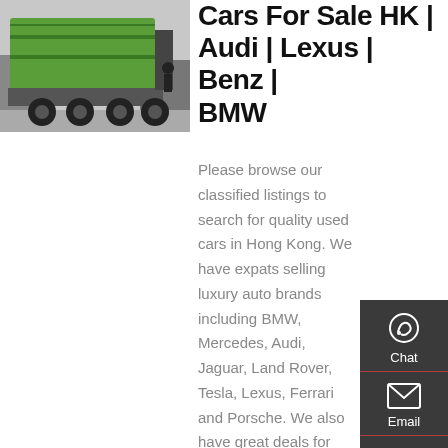[Figure (photo): Photograph of a green garbage/waste truck viewed from behind, parked in a lot with other vehicles visible in the background.]
Cars For Sale HK | Audi | Lexus | Benz | BMW
Please browse our classified listings to search for quality used cars in Hong Kong. We have expats selling luxury auto brands including BMW, Mercedes, Audi, Jaguar, Land Rover, Tesla, Lexus, Ferrari and Porsche. We also have great deals for you on mainstream auto brands including Toyota, Honda, Volvo, VW, Mazda, Mini Cooper, Nissan, and Hyundai.